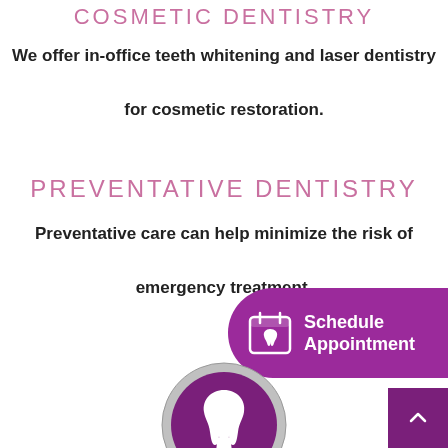COSMETIC DENTISTRY
We offer in-office teeth whitening and laser dentistry for cosmetic restoration.
PREVENTATIVE DENTISTRY
Preventative care can help minimize the risk of emergency treatment.
[Figure (infographic): Purple rounded button with calendar/tooth icon and text 'Schedule Appointment']
[Figure (illustration): Circular tooth icon with silver border and purple background]
[Figure (other): Back-to-top button, purple square with upward chevron arrow]